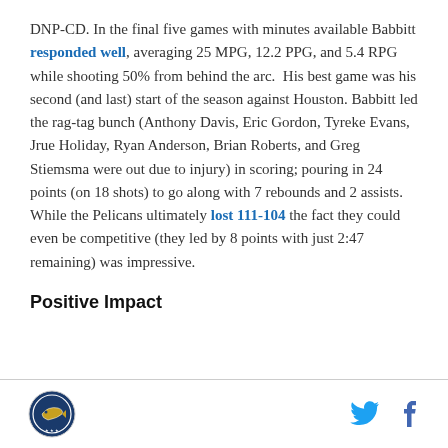DNP-CD. In the final five games with minutes available Babbitt responded well, averaging 25 MPG, 12.2 PPG, and 5.4 RPG while shooting 50% from behind the arc.  His best game was his second (and last) start of the season against Houston. Babbitt led the rag-tag bunch (Anthony Davis, Eric Gordon, Tyreke Evans, Jrue Holiday, Ryan Anderson, Brian Roberts, and Greg Stiemsma were out due to injury) in scoring; pouring in 24 points (on 18 shots) to go along with 7 rebounds and 2 assists. While the Pelicans ultimately lost 111-104 the fact they could even be competitive (they led by 8 points with just 2:47 remaining) was impressive.
Positive Impact
Logo | Twitter | Facebook